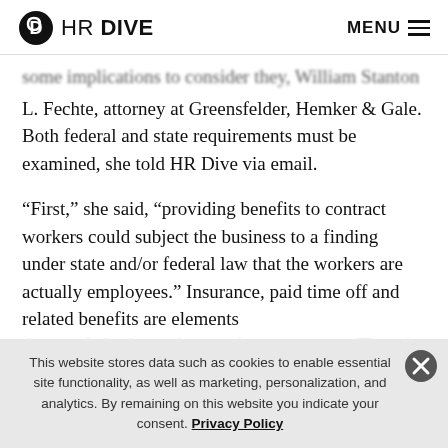HR DIVE | MENU
some implications to consider they, William Stanton L. Fechte, attorney at Greensfelder, Hemker & Gale. Both federal and state requirements must be examined, she told HR Dive via email.
“First,” she said, “providing benefits to contract workers could subject the business to a finding under state and/or federal law that the workers are actually employees.” Insurance, paid time off and related benefits are elements that can help determine employment status. There is an
This website stores data such as cookies to enable essential site functionality, as well as marketing, personalization, and analytics. By remaining on this website you indicate your consent. Privacy Policy